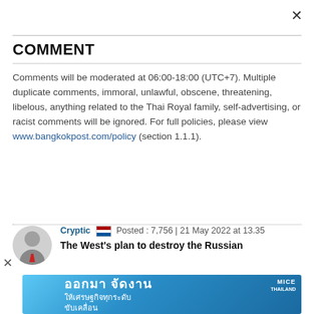COMMENT
Comments will be moderated at 06:00-18:00 (UTC+7). Multiple duplicate comments, immoral, unlawful, obscene, threatening, libelous, anything related to the Thai Royal family, self-advertising, or racist comments will be ignored. For full policies, please view www.bangkokpost.com/policy (section 1.1.1).
Cryptic 🇹🇭  Posted : 7,756 | 21 May 2022 at 13.35
The West's plan to destroy the Russian
[Figure (illustration): Thailand MICE advertisement banner with Thai text ออกมา จัดงาน ให้เศรษฐกิจทุกระดับ ขับเคลื่อน and MICE logo]